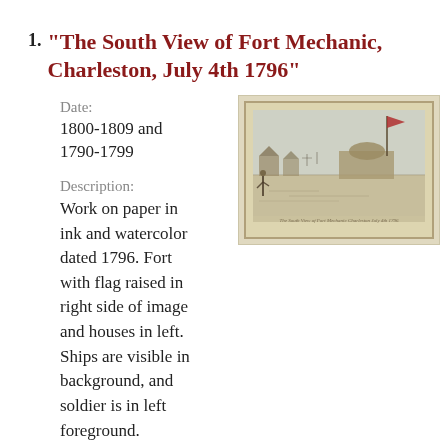1. "The South View of Fort Mechanic, Charleston, July 4th 1796"
Date:
1800-1809 and 1790-1799
[Figure (illustration): A historical watercolor/ink sketch showing a south view of Fort Mechanic, Charleston, dated July 4th 1796. Shows a fort with a flag raised on the right side, houses on the left, ships visible in background, and a soldier in left foreground. Handwritten caption visible at bottom of sketch.]
Description:
Work on paper in ink and watercolor dated 1796. Fort with flag raised in right side of image and houses in left. Ships are visible in background, and soldier is in left foreground. Sketch dated July